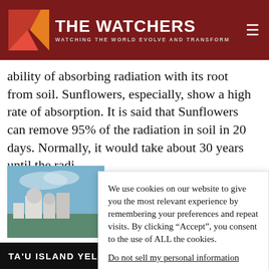THE WATCHERS — WATCHING THE WORLD EVOLVE AND TRANSFORM
ability of absorbing radiation with its root from soil. Sunflowers, especially, show a high rate of absorption. It is said that Sunflowers can remove 95% of the radiation in soil in 20 days. Normally, it would take about 30 years until the radi level.
[Figure (photo): Industrial or nuclear facility near water, blue sky]
We use cookies on our website to give you the most relevant experience by remembering your preferences and repeat visits. By clicking “Accept”, you consent to the use of ALL the cookies.
Do not sell my personal information.
TA'U ISLAND YELLOW/ADVISORY - PRELIMINARY EARTHQUAK